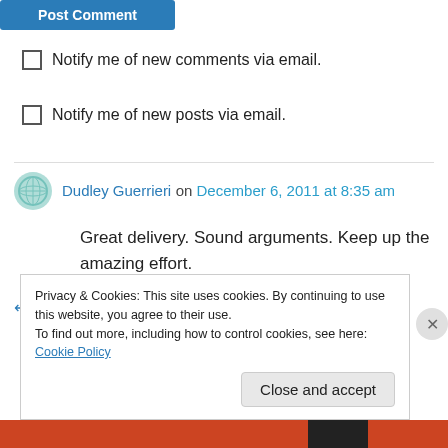[Figure (other): Post Comment button (blue button)]
Notify me of new comments via email.
Notify me of new posts via email.
Dudley Guerrieri on December 6, 2011 at 8:35 am
Great delivery. Sound arguments. Keep up the amazing effort.
↵ Reply
Privacy & Cookies: This site uses cookies. By continuing to use this website, you agree to their use. To find out more, including how to control cookies, see here: Cookie Policy
Close and accept